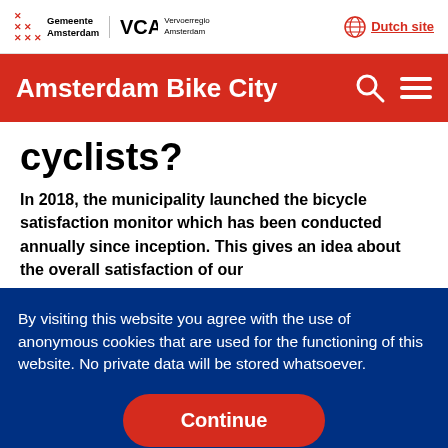Gemeente Amsterdam | Vervoerregio Amsterdam | Dutch site
Amsterdam Bike City
cyclists?
In 2018, the municipality launched the bicycle satisfaction monitor which has been conducted annually since inception. This gives an idea about the overall satisfaction of our
By visiting this website you agree with the use of anonymous cookies that are used for the functioning of this website. No private data will be stored whatsoever.
Continue